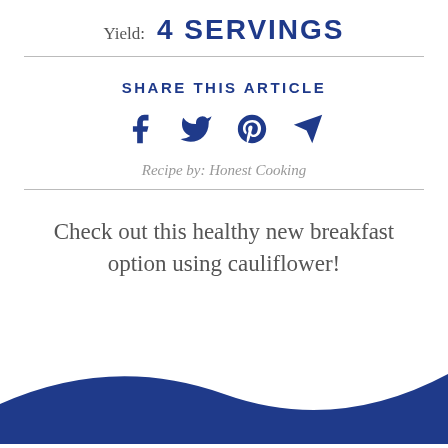Yield:  4 SERVINGS
SHARE THIS ARTICLE
[Figure (infographic): Social share icons: Facebook, Twitter, Pinterest, and a send/paper-plane icon, in dark navy blue.]
Recipe by: Honest Cooking
Check out this healthy new breakfast option using cauliflower!